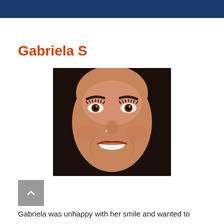Gabriela S
[Figure (photo): Close-up frontal photo of a young woman with dark hair, dark eyes with mascara, and a bright smile showing white teeth. She appears to be a dental patient.]
Gabriela was unhappy with her smile and wanted to